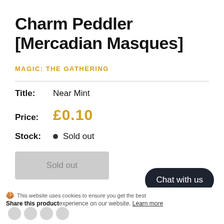Charm Peddler [Mercadian Masques]
MAGIC: THE GATHERING
Title: Near Mint
Price: £0.10
Stock: Sold out
Sold out
Chat with us
This website uses cookies to ensure you get the best experience on our website. Learn more
Share this product